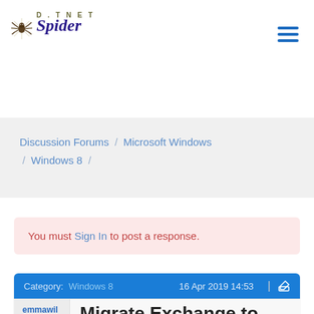[Figure (logo): DotNetSpider logo with stylized spider graphic and text 'DOTNET Spider' in italic]
[Figure (other): Hamburger menu icon (three horizontal blue lines)]
[Figure (other): Blue navigation bar with home icon, Login, Register links and search icon]
Discussion Forums / Microsoft Windows / Windows 8 /
You must Sign In to post a response.
Category: Windows 8    16 Apr 2019 14:53
emmawils
Migrate Exchange to